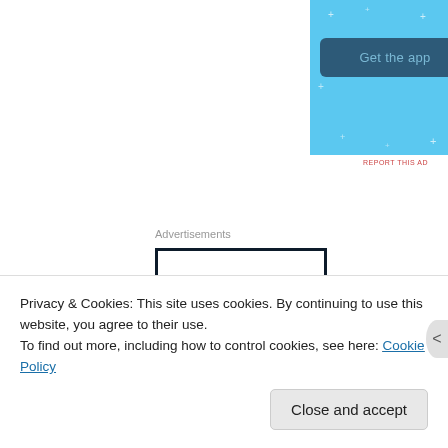[Figure (screenshot): Light blue advertisement banner with 'Get the app' button and sparkle decorations]
REPORT THIS AD
Advertisements
[Figure (screenshot): White advertisement box with dark navy border showing the word 'Opinions' in large serif text at the bottom]
Privacy & Cookies: This site uses cookies. By continuing to use this website, you agree to their use.
To find out more, including how to control cookies, see here: Cookie Policy
Close and accept